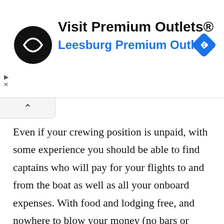[Figure (other): Advertisement banner for Visit Premium Outlets® / Leesburg Premium Outlets with circular black logo featuring a stylized arrow icon, and a blue diamond navigation icon on the right]
Even if your crewing position is unpaid, with some experience you should be able to find captains who will pay for your flights to and from the boat as well as all your onboard expenses. With food and lodging free, and nowhere to blow your money (no bars or clubs at sea on a small boat), crewing on deliveries is a great way to save money, even while you travel. I remember when I flew down to Mexico for a vacation and ended up getting invited as crew on a delivery up Baja. That delivery led to another, which led to another one after that. When I returned home a few